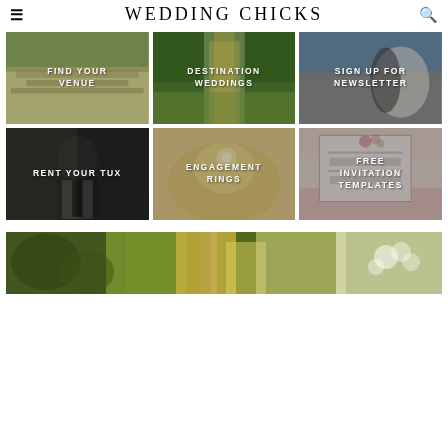WEDDING CHICKS
[Figure (photo): Grid of 6 wedding-related category images: Find Your Venue (reception hall), Destination Weddings (boardwalk path), Sign Up For Newsletter (couple at coast), Rent Your Tux (man in tuxedo), Engagement Rings (close-up of ring), Free Invitation Templates (wedding invitation card)]
[Figure (photo): Wide bottom image of outdoor wedding floral arrangement with tropical foliage and white flowers]